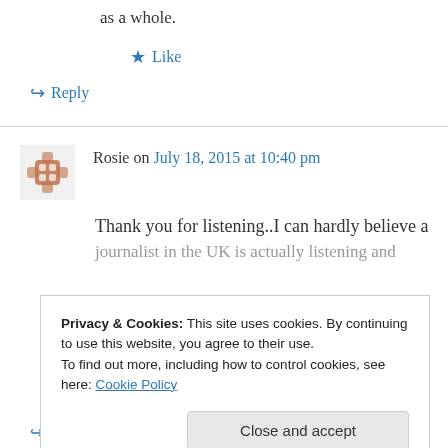as a whole.
★ Like
↪ Reply
Rosie on July 18, 2015 at 10:40 pm
Thank you for listening..I can hardly believe a journalist in the UK is actually listening and
Privacy & Cookies: This site uses cookies. By continuing to use this website, you agree to their use. To find out more, including how to control cookies, see here: Cookie Policy
Close and accept
↪ Reply